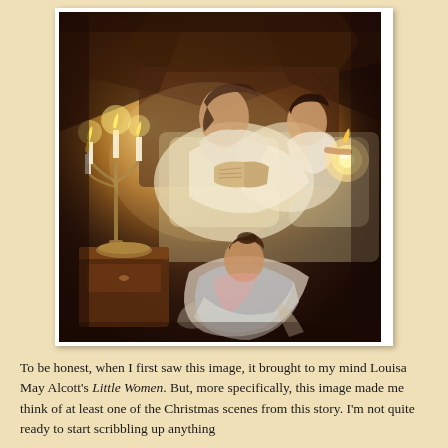[Figure (illustration): A romantic oil painting depicting three women in white nightgowns reading by candlelight. A mother figure sits on a bed reading from a book, with one daughter beside her also reading and holding a candle globe, and another daughter seated on the floor with her head bowed. A silver candelabra with burning candles is prominently featured on a bedside table. The scene is warm and intimate, lit entirely by candlelight in dark, rich tones.]
To be honest, when I first saw this image, it brought to my mind Louisa May Alcott's Little Women. But, more specifically, this image made me think of at least one of the Christmas scenes from this story. I'm not quite ready to start scribbling up anything